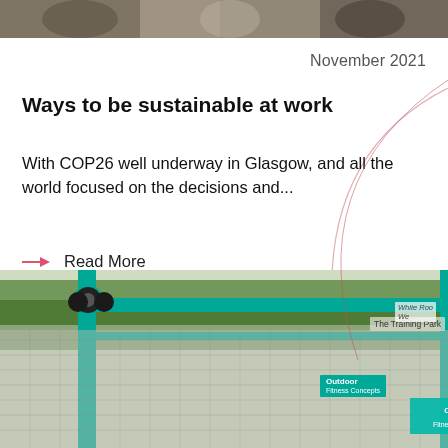[Figure (photo): Top partial image showing blurred people/subjects, cropped at top of page]
November 2021
Ways to be sustainable at work
With COP26 well underway in Glasgow, and all the world focused on the decisions and...
→ Read More
[Figure (photo): Outdoor fitness equipment at The Training Park / White Roo... facility, green metal frame structure with mesh fencing in background]